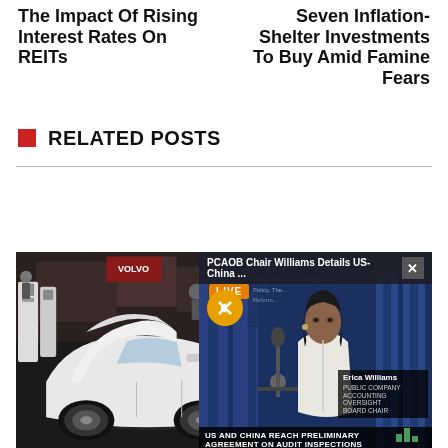The Impact Of Rising Interest Rates On REITs
Seven Inflation-Shelter Investments To Buy Amid Famine Fears
RELATED POSTS
[Figure (photo): A white Tesla vehicle displayed at what appears to be an auto show, with the hood open. People visible in the background. A Bloomberg live video overlay appears on the right side showing news anchor Erica Williams (PCAOB Chair) with text 'PCAOB Chair Williams Details US-China...' and bottom banner 'US AND CHINA REACH PRELIMINARY AGREEMENT ON AUDIT INSPECTIONS'.]